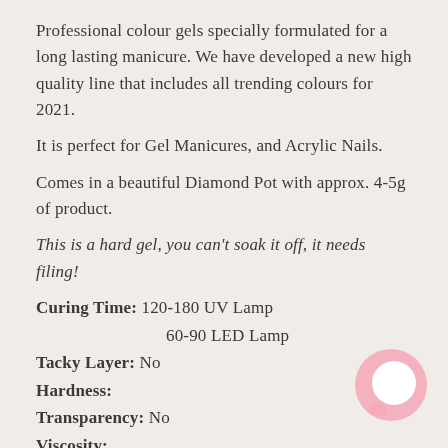Professional colour gels specially formulated for a long lasting manicure. We have developed a new high quality line that includes all trending colours for 2021.
It is perfect for Gel Manicures, and Acrylic Nails.
Comes in a beautiful Diamond Pot with approx. 4-5g of product.
This is a hard gel, you can't soak it off, it needs filing!
Curing Time: 120-180 UV Lamp
60-90 LED Lamp
Tacky Layer: No
Hardness:
Transparency: No
Viscosity:
Flexibility:
Thixotropy: Low
[Figure (illustration): Pink circular chat bubble icon in bottom right corner]